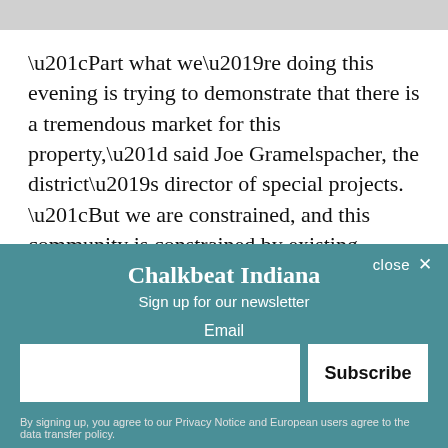“Part what we’re doing this evening is trying to demonstrate that there is a tremendous market for this property,” said Joe Gramelspacher, the district’s director of special projects. “But we are constrained, and this community is constrained by existing law.”
A bill making its way through the state legislature would also allow a $1-low — potentially giving the district an easier route to selling the property, although which charter school...
[Figure (other): Newsletter signup overlay for Chalkbeat Indiana with email input field and Subscribe button on a teal background. Contains close button, title 'Chalkbeat Indiana', subtitle 'Sign up for our newsletter', Email label, input field, Subscribe button, and privacy notice.]